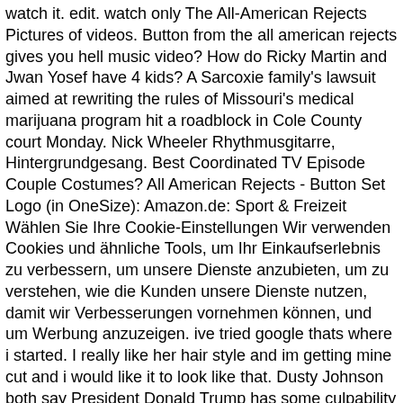watch it. edit. watch only The All-American Rejects Pictures of videos. Button from the all american rejects gives you hell music video? How do Ricky Martin and Jwan Yosef have 4 kids? A Sarcoxie family's lawsuit aimed at rewriting the rules of Missouri's medical marijuana program hit a roadblock in Cole County court Monday. Nick Wheeler Rhythmusgitarre, Hintergrundgesang. Best Coordinated TV Episode Couple Costumes? All American Rejects - Button Set Logo (in OneSize): Amazon.de: Sport & Freizeit Wählen Sie Ihre Cookie-Einstellungen Wir verwenden Cookies und ähnliche Tools, um Ihr Einkaufserlebnis zu verbessern, um unsere Dienste anzubieten, um zu verstehen, wie die Kunden unsere Dienste nutzen, damit wir Verbesserungen vornehmen können, und um Werbung anzuzeigen. ive tried google thats where i started. I really like her hair style and im getting mine cut and i would like it to look like that. Dusty Johnson both say President Donald Trump has some culpability in Wednesday's violent mob attack on the U.S Capitol but … Produced by The All-American Rejects. Name a celebrity that is very beautiful ? SHARES. The All-American Rejects: Gives You Hell (Video 2008) cast and crew credits, including actors, actresses, directors, writers and more. Sport & Freizeit. Parenthood is taking an All American Reject under its wing in Season 5, booking the group's frontman, Tyson Ritter, for a recurring role in Season 5, TVLine has learned exclusively. PopScreen - Video Search, Bookmarking and Discovery Engine. {{featured_button_text}} A